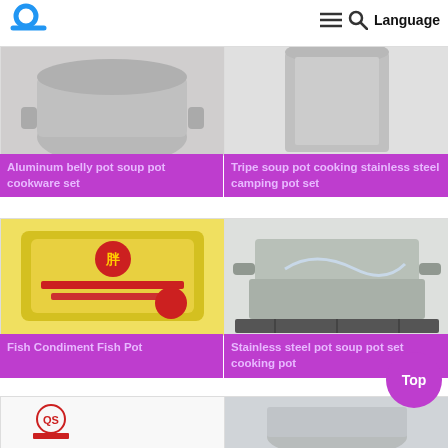Navigation bar with logo, hamburger menu, search icon, Language
[Figure (photo): Aluminum belly pot product image - cropped top]
Aluminum belly pot soup pot cookware set
[Figure (photo): Tripe soup pot - stainless steel cylinder top]
Tripe soup pot cooking stainless steel camping pot set
[Figure (photo): Fish Condiment packet - yellow packaging with Chinese characters]
Fish Condiment Fish Pot
[Figure (photo): Stainless steel pot with liquid being poured, on gas stove]
Stainless steel pot soup pot set cooking pot
[Figure (photo): Product with Chinese certification mark - partial view]
[Figure (photo): Stainless steel cookware - partial view bottom right]